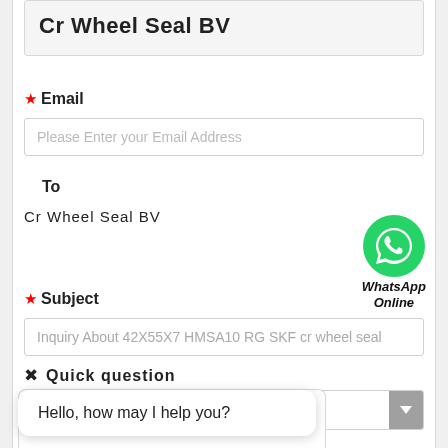Cr Wheel Seal BV
* Email
Please Enter your Email Address
To
Cr Wheel Seal BV
[Figure (logo): WhatsApp green circle logo with phone icon, labeled 'WhatsApp Online' in italic bold text]
* Subject
Inquiry About 42X55X7 HMSA10 RG SKF cr wheel seal
X  Quick question
Hello, how may I help you?
Chat now